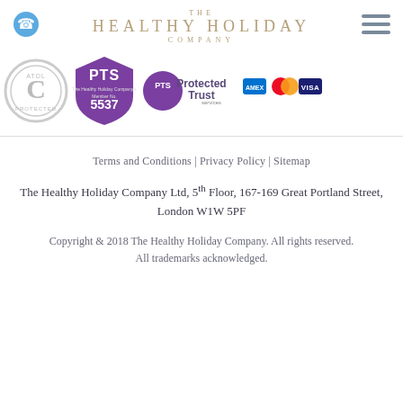THE HEALTHY HOLIDAY COMPANY
[Figure (logo): Company logos and trust badges: ATOL Protected circular badge, PTS purple shield badge number 5537, PTS Protected Trust Services logo, and Amex/Mastercard/Visa payment icons]
Terms and Conditions | Privacy Policy | Sitemap
The Healthy Holiday Company Ltd, 5th Floor, 167-169 Great Portland Street, London W1W 5PF
Copyright & 2018 The Healthy Holiday Company. All rights reserved. All trademarks acknowledged.